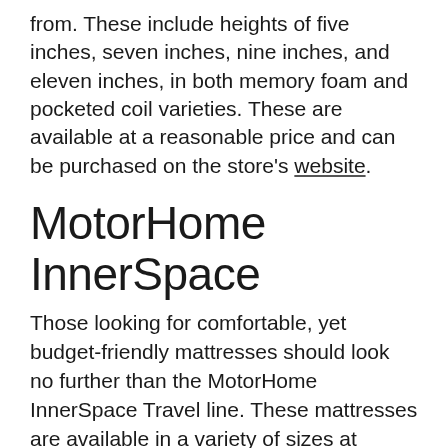from. These include heights of five inches, seven inches, nine inches, and eleven inches, in both memory foam and pocketed coil varieties. These are available at a reasonable price and can be purchased on the store's website.
MotorHome InnerSpace
Those looking for comfortable, yet budget-friendly mattresses should look no further than the MotorHome InnerSpace Travel line. These mattresses are available in a variety of sizes at different price points. The first is 5.5 inches in height and offers gently-cushioned support for a good night's sleep. The next is choice is seven inches in height and offers excellent pressure support in five different zones.